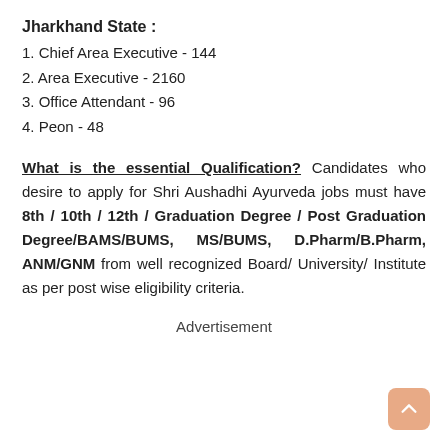Jharkhand State :
1. Chief Area Executive - 144
2. Area Executive - 2160
3. Office Attendant - 96
4. Peon - 48
What is the essential Qualification? Candidates who desire to apply for Shri Aushadhi Ayurveda jobs must have 8th / 10th / 12th / Graduation Degree / Post Graduation Degree/BAMS/BUMS, MS/BUMS, D.Pharm/B.Pharm, ANM/GNM from well recognized Board/ University/ Institute as per post wise eligibility criteria.
Advertisement